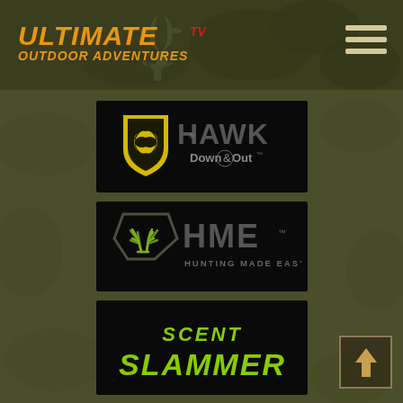[Figure (logo): Ultimate Outdoor Adventures TV logo with orange/yellow text on dark olive header background]
[Figure (logo): HAWK Down & Out brand logo - yellow shield with antler symbol, HAWK text in gray, Down & Out subtitle, on black background]
[Figure (logo): HME Hunting Made Easy logo - pentagon shaped antler icon in green, HME text in gray, tagline HUNTING MADE EASY, on black background]
[Figure (logo): Scent Slammer logo - bold green text on black background, SCENT SLAMMER in grunge/distressed font]